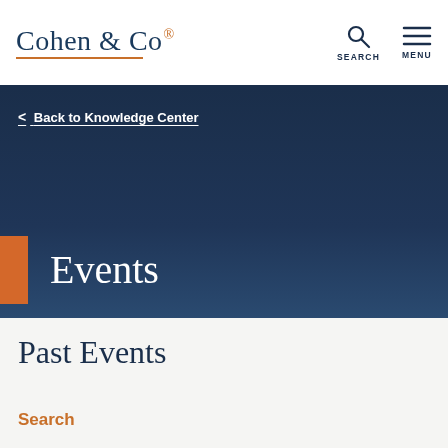Cohen & Co
< Back to Knowledge Center
Events
Past Events
Search